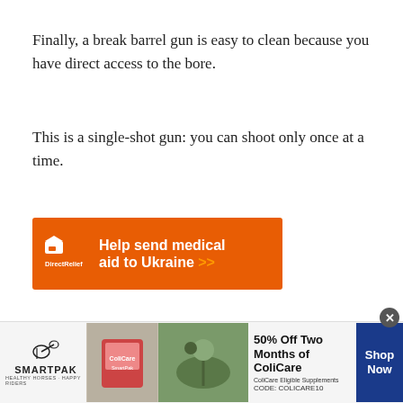Finally, a break barrel gun is easy to clean because you have direct access to the bore.
This is a single-shot gun: you can shoot only once at a time.
[Figure (infographic): Orange advertisement banner for Direct Relief: 'Help send medical aid to Ukraine >>']
[Figure (infographic): Bottom banner advertisement for SmartPak: '50% Off Two Months of ColiCare. ColiCare Eligible Supplements. CODE: COLICARE10. Shop Now']